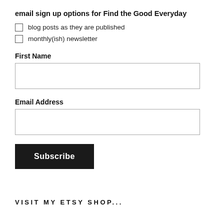email sign up options for Find the Good Everyday
blog posts as they are published
monthly(ish) newsletter
First Name
Email Address
Subscribe
VISIT MY ETSY SHOP...